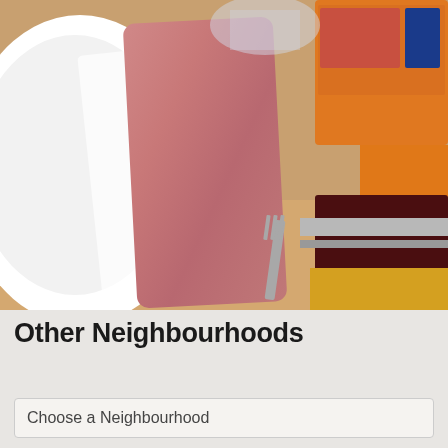[Figure (photo): Close-up photo of a restaurant table setting showing a white plate, a pink/salmon colored rolled napkin or wrapper, a fork, and colorful orange and dark red boxes/objects in the background on a tan surface.]
Other Neighbourhoods
Choose a Neighbourhood